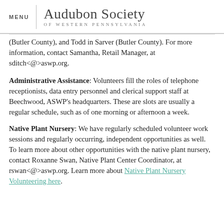MENU | Audubon Society OF WESTERN PENNSYLVANIA
(Butler County), and Todd in Sarver (Butler County). For more information, contact Samantha, Retail Manager, at sditch<@>aswp.org.
Administrative Assistance: Volunteers fill the roles of telephone receptionists, data entry personnel and clerical support staff at Beechwood, ASWP's headquarters. These are slots are usually a regular schedule, such as of one morning or afternoon a week.
Native Plant Nursery: We have regularly scheduled volunteer work sessions and regularly occurring, independent opportunities as well.  To learn more about other opportunities with the native plant nursery, contact Roxanne Swan, Native Plant Center Coordinator, at rswan<@>aswp.org. Learn more about Native Plant Nursery Volunteering here.